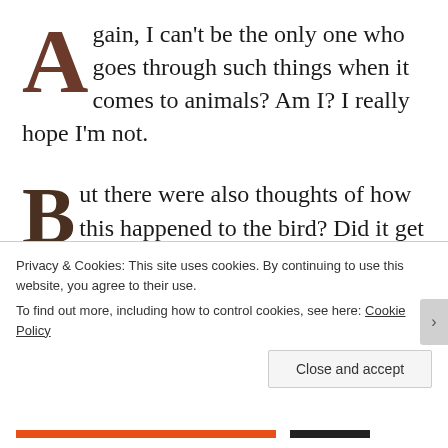Again, I can't be the only one who goes through such things when it comes to animals? Am I? I really hope I'm not.
But there were also thoughts of how this happened to the bird? Did it get hit by a car by an impatient driver who didn't want to wait for it to move out of the way? How many other people just drove by this poor bird? In fact, I saw a woman walking on the other side of the street. Did she not
Privacy & Cookies: This site uses cookies. By continuing to use this website, you agree to their use.
To find out more, including how to control cookies, see here: Cookie Policy